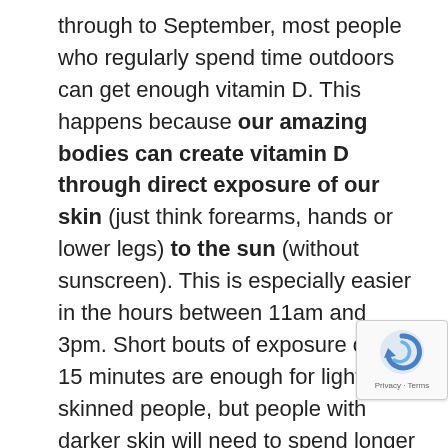through to September, most people who regularly spend time outdoors can get enough vitamin D. This happens because our amazing bodies can create vitamin D through direct exposure of our skin (just think forearms, hands or lower legs) to the sun (without sunscreen). This is especially easier in the hours between 11am and 3pm. Short bouts of exposure of 10-15 minutes are enough for light-skinned people, but people with darker skin will need to spend longer in the sun to produce the same amount of vitamin D. For the rest of the year though, from October to March, we just can't get enough vitamin D from sunlight alone. So if we can't get it from exposure to the sun, where else can we get it from?
Diet. When the sun isn't strong enough, we need